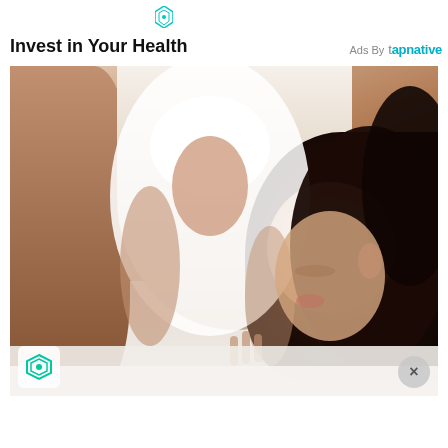[Figure (logo): Small teal funnel/triangle icon at top center]
Invest in Your Health
Ads By tapnative
[Figure (photo): Woman lying on bed in white tank top, holding her stomach/abdomen in apparent pain, dark hair, lying on white sheets]
[Figure (logo): Small teal funnel icon in bottom-left corner of photo]
[Figure (other): Close/X button circle in bottom-right corner of photo]